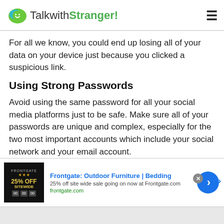TalkwithStranger!
For all we know, you could end up losing all of your data on your device just because you clicked a suspicious link.
Using Strong Passwords
Avoid using the same password for all your social media platforms just to be safe. Make sure all of your passwords are unique and complex, especially for the two most important accounts which include your social network and your email account.
Once a hacker gains control of your social media account,
[Figure (screenshot): Advertisement banner for Frontgate: Outdoor Furniture | Bedding — 25% off site wide sale going on now at Frontgate.com]